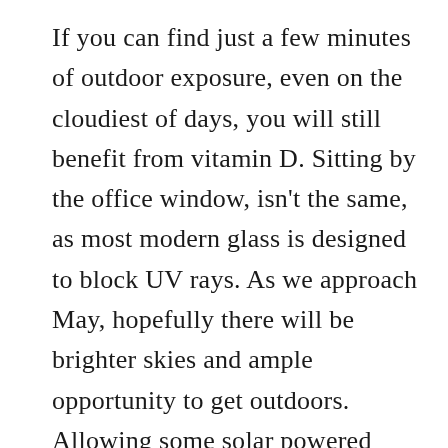If you can find just a few minutes of outdoor exposure, even on the cloudiest of days, you will still benefit from vitamin D. Sitting by the office window, isn't the same, as most modern glass is designed to block UV rays. As we approach May, hopefully there will be brighter skies and ample opportunity to get outdoors. Allowing some solar powered stress relief will also motive your mojo to getting moving and amp up your ability to wind down at bedtime. (Don't forget the sunscreen though. Sun burns definitely don't decrease